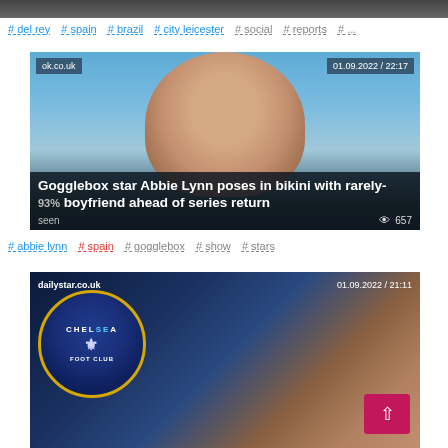[Figure (photo): Partial top image strip, cropped header from previous article]
#del rey #spain #brazil #city leicester #social #reports #...
[Figure (photo): Article card: Gogglebox star Abbie Lynn poses in bikini with rarely-seen boyfriend ahead of series return. Source: ok.co.uk, Date: 01.09.2022 / 22:17, Views: 657]
#abbie lynn #spain #gogglebox #show #stars
[Figure (photo): Article card: Chelsea related story with Chelsea FC badge and player. Source: dailystar.co.uk, Date: 01.09.2022 / 21:11]